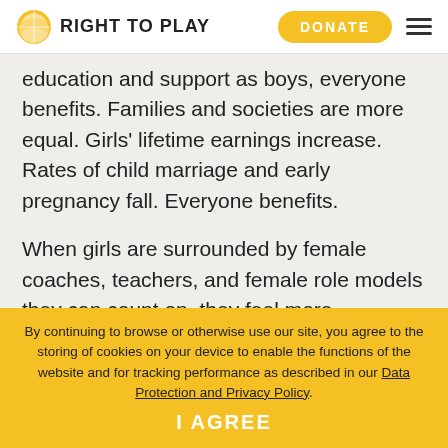RIGHT TO PLAY | DONATE
education and support as boys, everyone benefits. Families and societies are more equal. Girls' lifetime earnings increase. Rates of child marriage and early pregnancy fall. Everyone benefits.
When girls are surrounded by female coaches, teachers, and female role models they can count on, they feel more supported, and are better able
By continuing to browse or otherwise use our site, you agree to the storing of cookies on your device to enable the functions of the website and for tracking performance as described in our Data Protection and Privacy Policy.
I AGREE